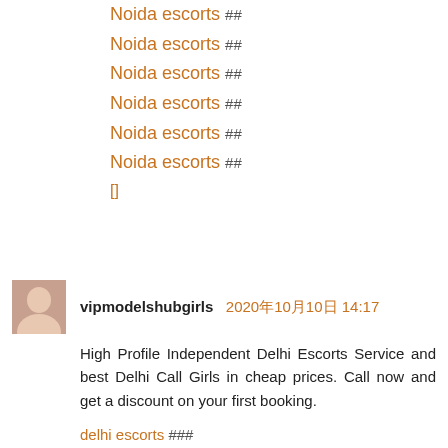Noida escorts ##
Noida escorts ##
Noida escorts ##
Noida escorts ##
Noida escorts ##
Noida escorts ##
[]
vipmodelshubgirls 2020年10月10日 14:17
High Profile Independent Delhi Escorts Service and best Delhi Call Girls in cheap prices. Call now and get a discount on your first booking.
delhi escorts ###
delhi independent escorts ###
delhi call girls ###
delhi escorts services ###
escorts in delhi ###
Female escorts delhi ###
[]